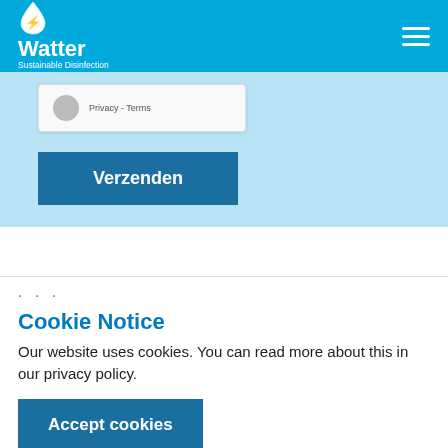Watter Sustainable Disinfection
[Figure (screenshot): Partial reCAPTCHA widget card showing icon and 'Privacy - Terms' text, followed by a teal 'Verzenden' button on a light blue background]
Cookie Notice
Our website uses cookies. You can read more about this in our privacy policy.
Accept cookies